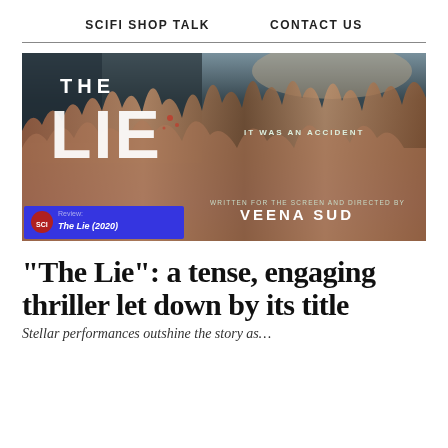SCIFI SHOP TALK    CONTACT US
[Figure (photo): Movie poster for 'The Lie' (2020) directed by Veena Sud. Shows torn paper effect revealing dark background. Text reads: THE LIE, IT WAS AN ACCIDENT, WRITTEN FOR THE SCREEN AND DIRECTED BY VEENA SUD. Review badge in bottom left corner.]
“The Lie”: a tense, engaging thriller let down by its title
Stellar performances outshine the story as…